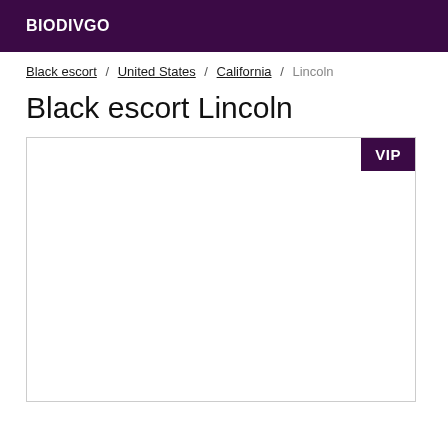BIODIVGO
Black escort / United States / California / Lincoln
Black escort Lincoln
[Figure (other): Listing card with VIP badge in top-right corner, otherwise blank white content area]